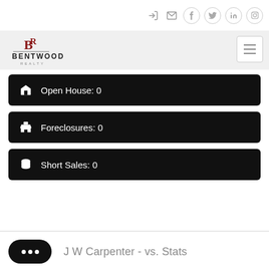Bentwood Realty navigation icons
[Figure (logo): Bentwood Realty logo with BR monogram in dark red and company name below]
Open House: 0
Foreclosures: 0
Short Sales: 0
J W Carpenter - vs. Stats